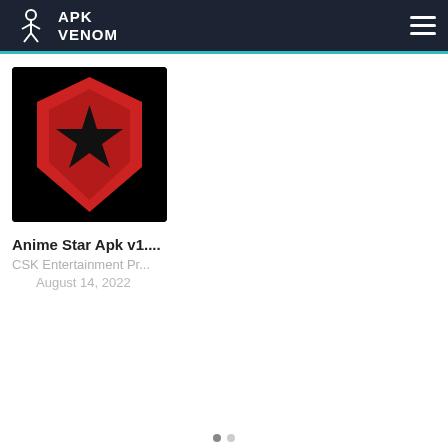APK VENOM
[Figure (logo): Anime Star app icon: red hexagon with black star on black background]
Anime Star Apk v1....
CSK Entertainment Pr...
August 14, 2022